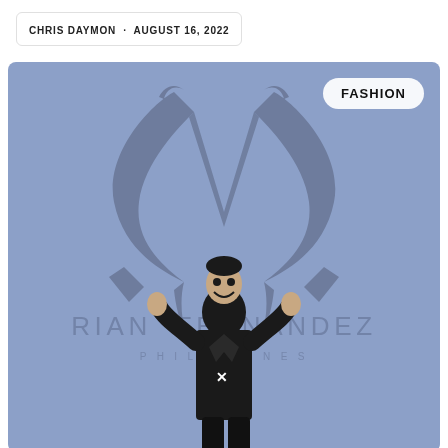CHRIS DAYMON · AUGUST 16, 2022
[Figure (photo): Fashion event photo showing a young man in a black suit with a brand logo, waving, standing in front of a large Rian Fernandez Philippines logo on a blue-purple backdrop. A 'FASHION' badge is overlaid in the top right corner.]